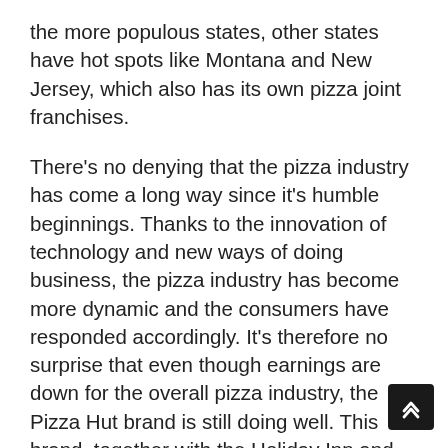the more populous states, other states have hot spots like Montana and New Jersey, which also has its own pizza joint franchises.
There's no denying that the pizza industry has come a long way since it's humble beginnings. Thanks to the innovation of technology and new ways of doing business, the pizza industry has become more dynamic and the consumers have responded accordingly. It's therefore no surprise that even though earnings are down for the overall pizza industry, the Pizza Hut brand is still doing well. This brand, together with the Holiday Inn and SuperAmerica chain, have managed to keep the customers coming in and spending their money despite the economy.
With great marketing strategies and a solid advertising campaign, the Pizzeria chain has